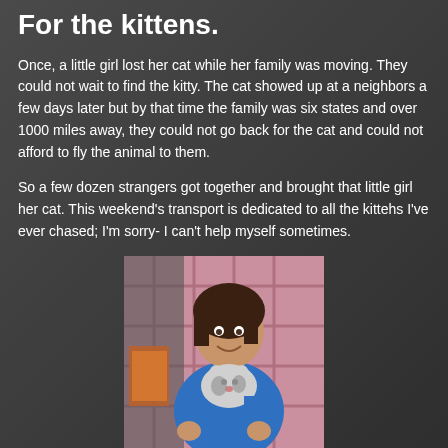For the kittens.
Once, a little girl lost her cat while her family was moving. They could not wait to find the kitty. The cat showed up at a neighbors a few days later but by that time the family was six states and over 1000 miles away, they could not go back for the cat and could not afford to fly the animal to them.
So a few dozen strangers got together and brought that little girl her cat. This weekend's transport is dedicated to all the kittehs I've ever chased; I'm sorry- I can't help myself sometimes.
[Figure (photo): A young girl with dark hair holding a cat, wearing a blue top, with a plaid blanket in the background. Vintage photograph.]